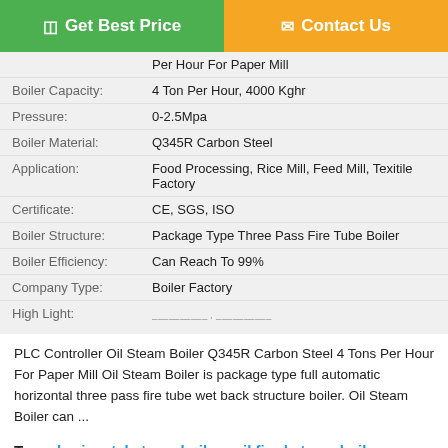Get Best Price
Contact Us
| Field | Value |
| --- | --- |
|  | Per Hour For Paper Mill |
| Boiler Capacity: | 4 Ton Per Hour, 4000 Kghr |
| Pressure: | 0-2.5Mpa |
| Boiler Material: | Q345R Carbon Steel |
| Application: | Food Processing, Rice Mill, Feed Mill, Texitile Factory |
| Certificate: | CE, SGS, ISO |
| Boiler Structure: | Package Type Three Pass Fire Tube Boiler |
| Boiler Efficiency: | Can Reach To 99% |
| Company Type: | Boiler Factory |
| High Light: |  |
PLC Controller Oil Steam Boiler Q345R Carbon Steel 4 Tons Per Hour For Paper Mill Oil Steam Boiler is package type full automatic horizontal three pass fire tube wet back structure boiler. Oil Steam Boiler can ...
Tags: horizontal steam boiler , oil fired steam boiler , fuel fired boiler
Chat Now
Request A Quote